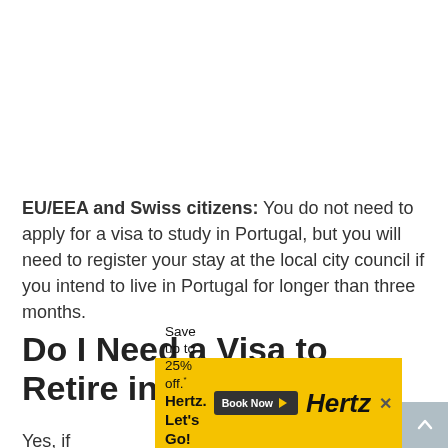EU/EEA and Swiss citizens: You do not need to apply for a visa to study in Portugal, but you will need to register your stay at the local city council if you intend to live in Portugal for longer than three months.
Do I Need a Visa to Retire in Portugal?
Yes, if…
[Figure (other): Hertz advertisement banner: 'Save up to 25% off. Hertz. Let's Go!' with Book Now button and Hertz logo. Yellow background.]